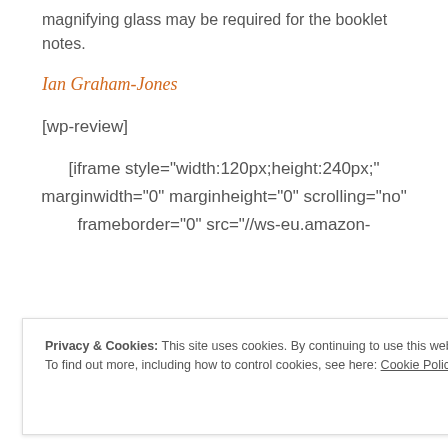magnifying glass may be required for the booklet notes.
Ian Graham-Jones
[wp-review]
[iframe style="width:120px;height:240px;" marginwidth="0" marginheight="0" scrolling="no" frameborder="0" src="//ws-eu.amazon-
Privacy & Cookies: This site uses cookies. By continuing to use this website, you agree to their use.
To find out more, including how to control cookies, see here: Cookie Policy
Close and accept